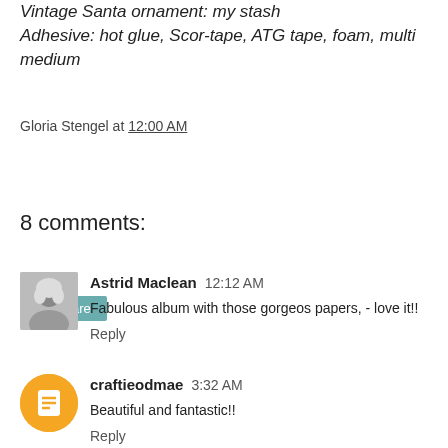Vintage Santa ornament: my stash
Adhesive: hot glue, Scor-tape, ATG tape, foam, multi medium
Gloria Stengel at 12:00 AM
Share
8 comments:
Astrid Maclean  12:12 AM
Fabulous album with those gorgeos papers, - love it!!
Reply
craftieodmae  3:32 AM
Beautiful and fantastic!!
Reply